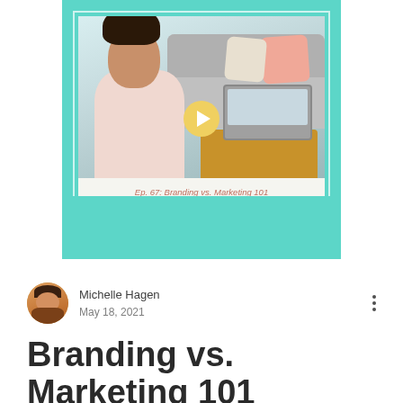[Figure (screenshot): Podcast thumbnail card with teal background showing a woman sitting on the floor near a sofa with a laptop, with a play button overlay and caption 'Ep. 67: Branding vs. Marketing 101 with Rossalvi Marte']
Ep. 67: Branding vs. Marketing 101 with Rossalvi Marte
Michelle Hagen
May 18, 2021
Branding vs. Marketing 101